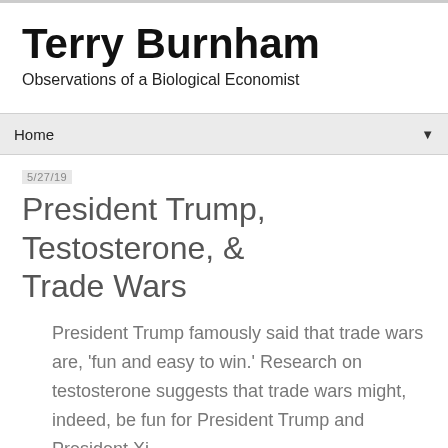Terry Burnham
Observations of a Biological Economist
Home ▼
5/27/19
President Trump, Testosterone, & Trade Wars
President Trump famously said that trade wars are, 'fun and easy to win.' Research on testosterone suggests that trade wars might, indeed, be fun for President Trump and President Xi.